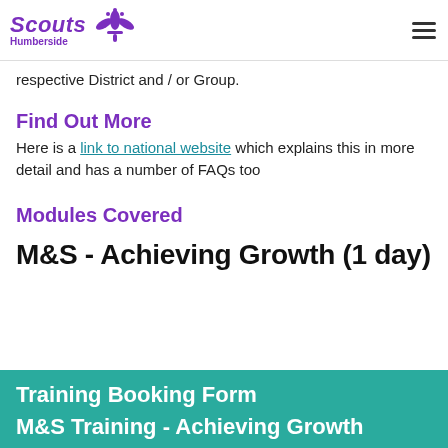Scouts Humberside
respective District and / or Group.
Find Out More
Here is a link to national website which explains this in more detail and has a number of FAQs too
Modules Covered
M&S - Achieving Growth (1 day)
Training Booking Form
M&S Training - Achieving Growth